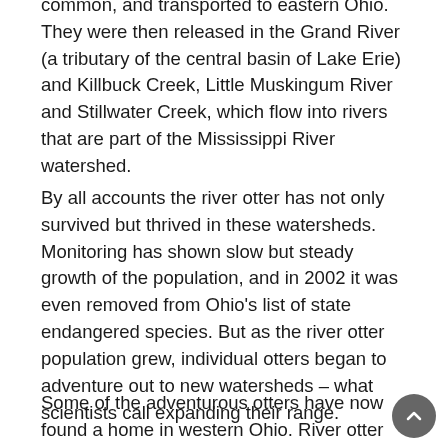common, and transported to eastern Ohio. They were then released in the Grand River (a tributary of the central basin of Lake Erie) and Killbuck Creek, Little Muskingum River and Stillwater Creek, which flow into rivers that are part of the Mississippi River watershed.
By all accounts the river otter has not only survived but thrived in these watersheds. Monitoring has shown slow but steady growth of the population, and in 2002 it was even removed from Ohio's list of state endangered species. But as the river otter population grew, individual otters began to adventure out to new watersheds – what scientists call expanding their range.
Some of the adventurous otters have now found a home in western Ohio. River otter sightings have occurred annually for more than 10 years from Cedar